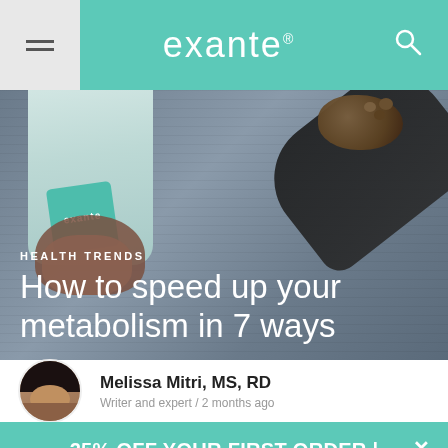exante
[Figure (photo): Hero image showing a person holding an exante branded cup/shaker with a dark coffee spoon in the background, overlaid with article category and title]
HEALTH TRENDS
How to speed up your metabolism in 7 ways
Melissa Mitri, MS, RD
Writer and expert / 2 months ago
25% OFF YOUR FIRST ORDER | CODE: BLOG | SIMPLE & CONVENIENT WEIGHT LOSS PRODUCTS
SHOP NOW! >